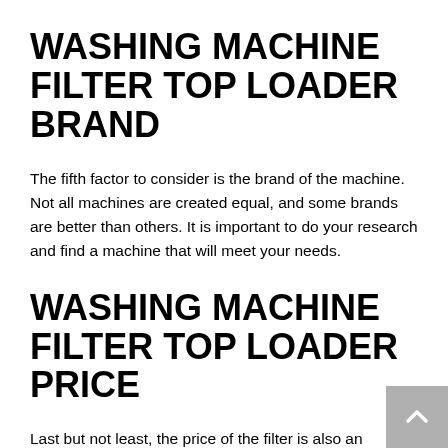WASHING MACHINE FILTER TOP LOADER BRAND
The fifth factor to consider is the brand of the machine. Not all machines are created equal, and some brands are better than others. It is important to do your research and find a machine that will meet your needs.
WASHING MACHINE FILTER TOP LOADER PRICE
Last but not least, the price of the filter is also an important factor to consider. Generally speaking, the higher the quality of the filter, the higher the price will